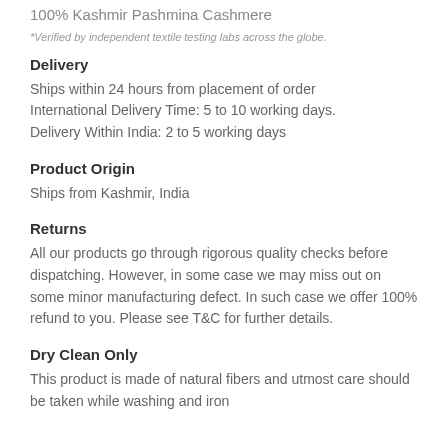100% Kashmir Pashmina Cashmere
*Verified by independent textile testing labs across the globe.
Delivery
Ships within 24 hours from placement of order
International Delivery Time: 5 to 10 working days.
Delivery Within India: 2 to 5 working days
Product Origin
Ships from Kashmir, India
Returns
All our products go through rigorous quality checks before dispatching. However, in some case we may miss out on some minor manufacturing defect. In such case we offer 100% refund to you. Please see T&C for further details.
Dry Clean Only
This product is made of natural fibers and utmost care should be taken while washing and iron